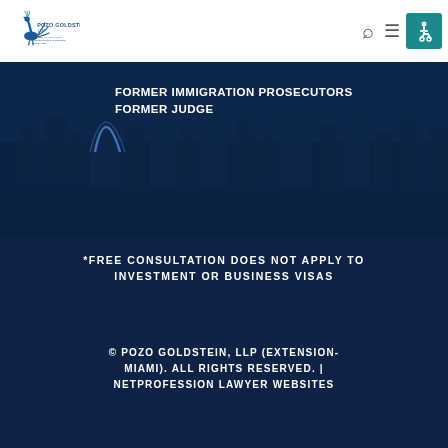[Figure (logo): Pozo Goldstein LLP law firm logo with a peacock bird and tagline text]
[Figure (photo): Dark navy banner image showing city skyline with overlay text: FORMER IMMIGRATION PROSECUTORS, FORMER JUDGE]
*FREE CONSULTATION DOES NOT APPLY TO INVESTMENT OR BUSINESS VISAS
© POZO GOLDSTEIN, LLP (EXTENSION-MIAMI). ALL RIGHTS RESERVED. | NETPROFESSION LAWYER WEBSITES